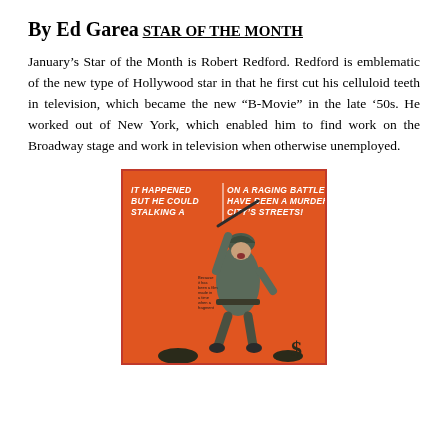By Ed Garea
STAR OF THE MONTH
January's Star of the Month is Robert Redford. Redford is emblematic of the new type of Hollywood star in that he first cut his celluloid teeth in television, which became the new “B-Movie” in the late ‘50s. He worked out of New York, which enabled him to find work on the Broadway stage and work in television when otherwise unemployed.
[Figure (illustration): Movie poster with orange background showing a soldier in helmet holding a rifle aloft. Text reads: IT HAPPENED BUT HE COULD STALKING A / ON A RAGING BATTLEFIELD HAVE BEEN A MURDERER CITY'S STREETS!]